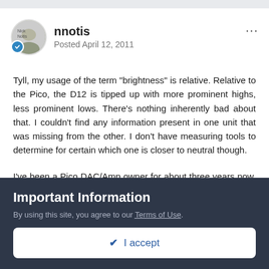nnotis | Posted April 12, 2011
Tyll, my usage of the term "brightness" is relative. Relative to the Pico, the D12 is tipped up with more prominent highs, less prominent lows. There's nothing inherently bad about that. I couldn't find any information present in one unit that was missing from the other. I don't have measuring tools to determine for certain which one is closer to neutral though.
I've been a Pico DAC/Amp owner for about three years now. I won't be getting a D12 for myself because it's not an upgrade from the Pico, but rather, a lateral move.
Important Information
By using this site, you agree to our Terms of Use.
✔ I accept